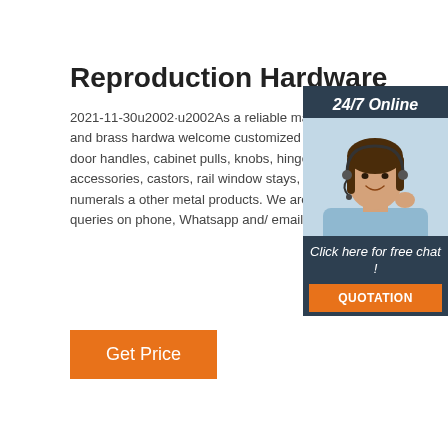Reproduction Hardware
2021-11-30u2002·u2002As a reliable manufacturer of bronze and brass hardware, welcome customized orders for items such as door handles, cabinet pulls, knobs, hinges, furniture fittings, accessories, castors, rail, window stays, hooks, hangers, numerals and other metal products. We are always available to answer queries on phone, Whatsapp and/or email.
[Figure (photo): Customer service representative woman wearing headset, smiling, with 24/7 Online label and sidebar UI elements including 'Click here for free chat!' and 'QUOTATION' button]
Get Price